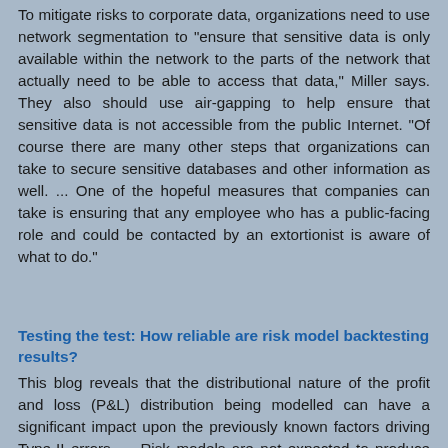To mitigate risks to corporate data, organizations need to use network segmentation to "ensure that sensitive data is only available within the network to the parts of the network that actually need to be able to access that data," Miller says. They also should use air-gapping to help ensure that sensitive data is not accessible from the public Internet. "Of course there are many other steps that organizations can take to secure sensitive databases and other information as well. ... One of the hopeful measures that companies can take is ensuring that any employee who has a public-facing role and could be contacted by an extortionist is aware of what to do."
Testing the test: How reliable are risk model backtesting results?
This blog reveals that the distributional nature of the profit and loss (P&L) distribution being modelled can have a significant impact upon the previously known factors driving Type-II errors. ... Risk models are not expected to produce reliable and robust risk estimates 100% of the time. Indeed when specifying a model, users build-in expectations around